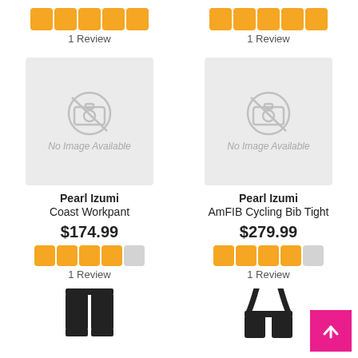[Figure (other): Five orange star rating icons (5 out of 5) for left product]
1 Review
[Figure (other): Five orange star rating icons (5 out of 5) for right product]
1 Review
[Figure (photo): No Image Available placeholder for Pearl Izumi Coast Workpant]
Pearl Izumi
Coast Workpant
$174.99
[Figure (other): Four orange star rating icons and one gray (4 out of 5) for Coast Workpant]
1 Review
[Figure (photo): No Image Available placeholder for Pearl Izumi AmFIB Cycling Bib Tight]
Pearl Izumi
AmFIB Cycling Bib Tight
$279.99
[Figure (other): Four orange star rating icons and one gray (4 out of 5) for AmFIB Cycling Bib Tight]
1 Review
[Figure (photo): Product image of black cycling pants (Coast Workpant)]
[Figure (photo): Product image of black bib tight (AmFIB Cycling Bib Tight)]